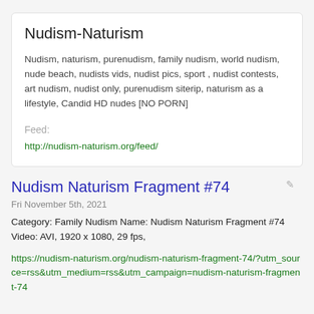Nudism-Naturism
Nudism, naturism, purenudism, family nudism, world nudism, nude beach, nudists vids, nudist pics, sport , nudist contests, art nudism, nudist only, purenudism siterip, naturism as a lifestyle, Candid HD nudes [NO PORN]
Feed:
http://nudism-naturism.org/feed/
Nudism Naturism Fragment #74
Fri November 5th, 2021
Category: Family Nudism Name: Nudism Naturism Fragment #74 Video: AVI, 1920 x 1080, 29 fps,
https://nudism-naturism.org/nudism-naturism-fragment-74/?utm_source=rss&utm_medium=rss&utm_campaign=nudism-naturism-fragment-74